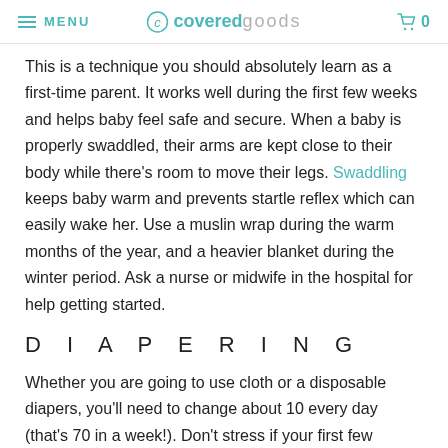MENU | covered goods | 0
This is a technique you should absolutely learn as a first-time parent. It works well during the first few weeks and helps baby feel safe and secure. When a baby is properly swaddled, their arms are kept close to their body while there's room to move their legs. Swaddling keeps baby warm and prevents startle reflex which can easily wake her. Use a muslin wrap during the warm months of the year, and a heavier blanket during the winter period. Ask a nurse or midwife in the hospital for help getting started.
D I A P E R I N G
Whether you are going to use cloth or a disposable diapers, you'll need to change about 10 every day (that's 70 in a week!). Don't stress if your first few changes aren't perfect, you'll get